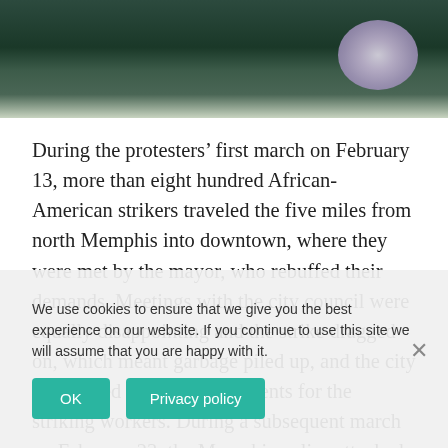[Figure (photo): Partial photograph showing a dark-clothed figure against a background with flowering plants (purple/white flowers visible in upper right)]
During the protesters’ first march on February 13, more than eight hundred African-American strikers traveled the five miles from north Memphis into downtown, where they were met by the mayor, who rebuffed their demands. Meetings with the city council were equally disappointing and the strike dragged on, which meant garbage piled up, and the city was forced to hire replacements for the striking workers. During a subsequent march on February 23, the Memphis police attacked protesters with mace. Despite such setbacks, the number of people involved in the protest continued to rise. A rally on March 14 brought out nine thousand. “It’s hard for whites to change their minds, even the good ones,” Roy Wilkins, president of the NAACP, remarked. “And the bad ones just get wo
We use cookies to ensure that we give you the best experience on our website. If you continue to use this site we will assume that you are happy with it.